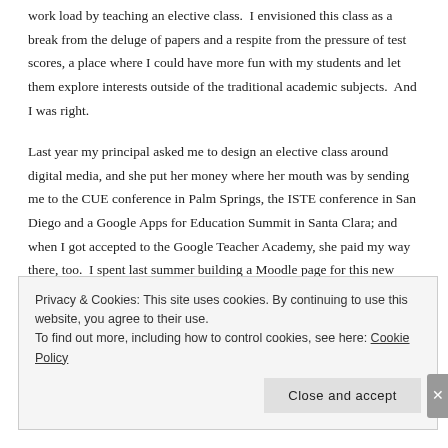work load by teaching an elective class.  I envisioned this class as a break from the deluge of papers and a respite from the pressure of test scores, a place where I could have more fun with my students and let them explore interests outside of the traditional academic subjects.  And I was right.
Last year my principal asked me to design an elective class around digital media, and she put her money where her mouth was by sending me to the CUE conference in Palm Springs, the ISTE conference in San Diego and a Google Apps for Education Summit in Santa Clara; and when I got accepted to the Google Teacher Academy, she paid my way there, too.  I spent last summer building a Moodle page for this new class, offering my students choices and tutorials in a wide range of digital media opportunities.
Privacy & Cookies: This site uses cookies. By continuing to use this website, you agree to their use.
To find out more, including how to control cookies, see here: Cookie Policy
Close and accept